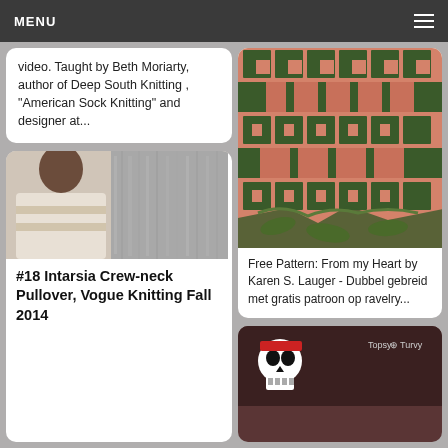MENU
video. Taught by Beth Moriarty, author of Deep South Knitting , "American Sock Knitting" and designer at...
[Figure (photo): Woman wearing a knitted pullover sweater with intarsia pattern, grey fuzzy texture, close-up of garment]
#18 Intarsia Crew-neck Pullover, Vogue Knitting Fall 2014
[Figure (photo): Close-up of a knitted fabric with a heart/geometric pattern in pink and dark green colors on white background, appears to be a colorwork knitting project]
Free Pattern: From my Heart by Karen S. Lauger - Dubbel gebreid met gratis patroon op ravelry...
[Figure (photo): Partial view of what appears to be a knitted item with a skull design on dark background, Topsy Turvy branding visible]